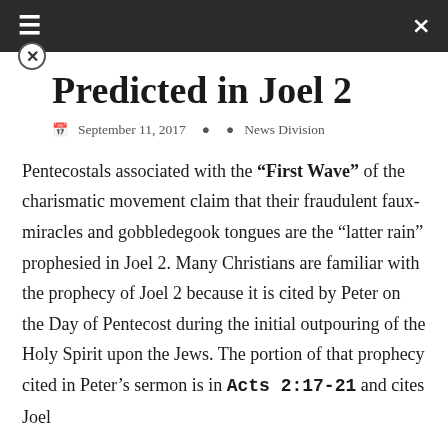≡  ⇌
Predicted in Joel 2
September 11, 2017   News Division
Pentecostals associated with the "First Wave" of the charismatic movement claim that their fraudulent faux-miracles and gobbledegook tongues are the "latter rain" prophesied in Joel 2. Many Christians are familiar with the prophecy of Joel 2 because it is cited by Peter on the Day of Pentecost during the initial outpouring of the Holy Spirit upon the Jews. The portion of that prophecy cited in Peter's sermon is in Acts 2:17-21 and cites Joel